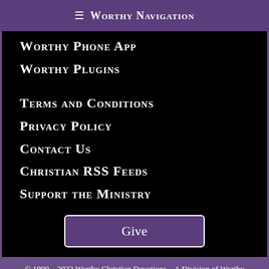≡ Worthy Navigation
Worthy Phone App
Worthy Plugins
Terms and Conditions
Privacy Policy
Contact Us
Christian RSS Feeds
Support the Ministry
Give
© 1999 – 2022 Worthy Christian Devotions – A Division of Worthy Ministries.
Worthy Daily Devotional » Intercession » Happy Yom Yerushalayim!